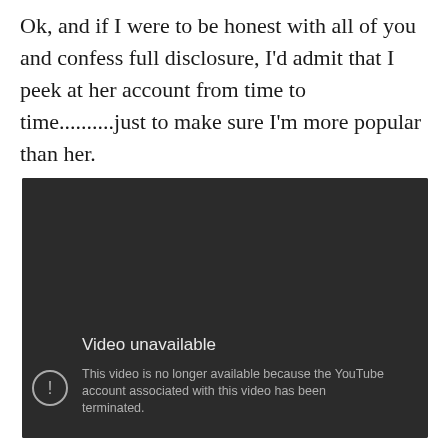Ok, and if I were to be honest with all of you and confess full disclosure, I'd admit that I peek at her account from time to time..........just to make sure I'm more popular than her.
[Figure (screenshot): YouTube video unavailable error screen. Dark background with message: 'Video unavailable. This video is no longer available because the YouTube account associated with this video has been terminated.']